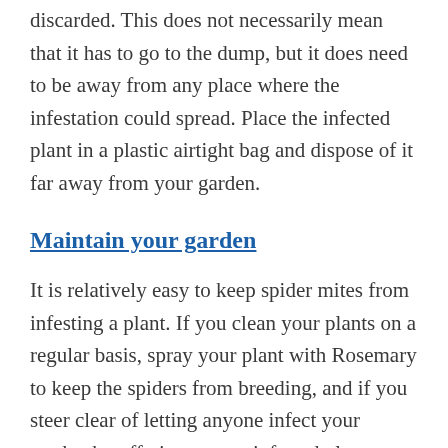discarded. This does not necessarily mean that it has to go to the dump, but it does need to be away from any place where the infestation could spread. Place the infected plant in a plastic airtight bag and dispose of it far away from your garden.
Maintain your garden
It is relatively easy to keep spider mites from infesting a plant. If you clean your plants on a regular basis, spray your plant with Rosemary to keep the spiders from breeding, and if you steer clear of letting anyone infect your garden by offering you an infested plant (though I really doubt someone would do this